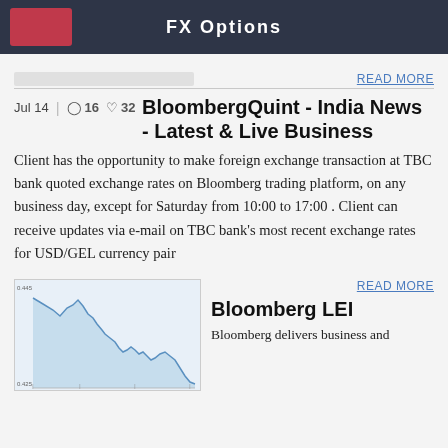FX Options
READ MORE
Jul 14  16  32
BloombergQuint - India News - Latest & Live Business
Client has the opportunity to make foreign exchange transaction at TBC bank quoted exchange rates on Bloomberg trading platform, on any business day, except for Saturday from 10:00 to 17:00 . Client can receive updates via e-mail on TBC bank's most recent exchange rates for USD/GEL currency pair
[Figure (continuous-plot): Small thumbnail line/area chart showing a downward trending data series over time]
READ MORE
Bloomberg LEI
Bloomberg delivers business and